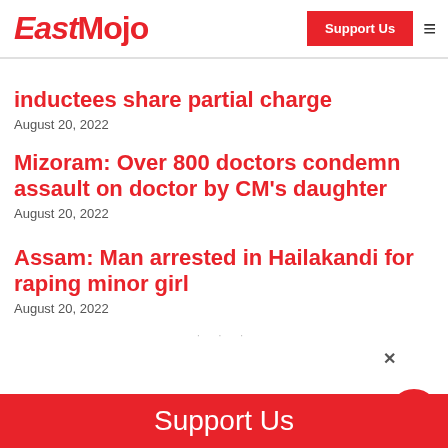EastMojo | Support Us
inductees share partial charge
August 20, 2022
Mizoram: Over 800 doctors condemn assault on doctor by CM's daughter
August 20, 2022
Assam: Man arrested in Hailakandi for raping minor girl
August 20, 2022
Support Us